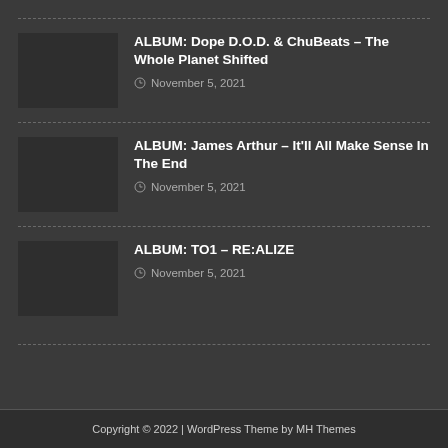ALBUM: Dope D.O.D. & ChuBeats – The Whole Planet Shifted
November 5, 2021
ALBUM: James Arthur – It'll All Make Sense In The End
November 5, 2021
ALBUM: TO1 – RE:ALIZE
November 5, 2021
Copyright © 2022 | WordPress Theme by MH Themes